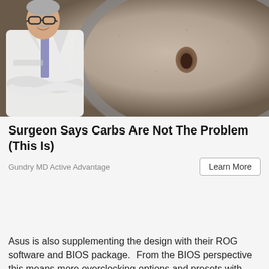[Figure (photo): Composite image: a doctor in white lab coat with arms crossed stands on the left side; the right side shows a close-up of a human belly/navel area, creating a juxtaposed advertisement visual.]
Surgeon Says Carbs Are Not The Problem (This Is)
Gundry MD Active Advantage
Learn More
Asus is also supplementing the design with their ROG software and BIOS package.  From the BIOS perspective this means more overclocking options and presets with features like "CPU DIMM